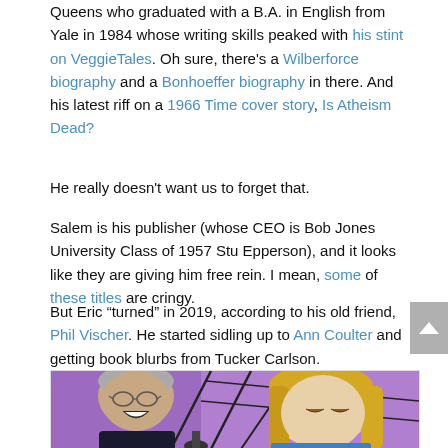Queens who graduated with a B.A. in English from Yale in 1984 whose writing skills peaked with his stint on VeggieTales. Oh sure, there's a Wilberforce biography and a Bonhoeffer biography in there. And his latest riff on a 1966 Time cover story, Is Atheism Dead?
He really doesn't want us to forget that.
Salem is his publisher (whose CEO is Bob Jones University Class of 1957 Stu Epperson), and it looks like they are giving him free rein. I mean, some of these titles are cringy.
But Eric “turned” in 2019, according to his old friend, Phil Vischer. He started sidling up to Ann Coulter and getting book blurbs from Tucker Carlson.
[Figure (photo): Photo of two people: on the left, an older man with glasses laughing, and on the right, a blonde woman looking down. Background shows a purple abstract art piece.]